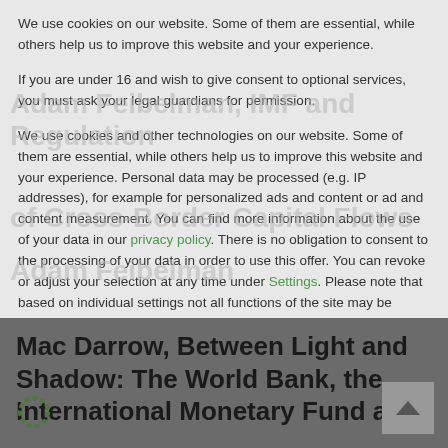We use cookies on our website. Some of them are essential, while others help us to improve this website and your experience.
If you are under 16 and wish to give consent to optional services, you must ask your legal guardians for permission.
We use cookies and other technologies on our website. Some of them are essential, while others help us to improve this website and your experience. Personal data may be processed (e.g. IP addresses), for example for personalized ads and content or ad and content measurement. You can find more information about the use of your data in our privacy policy. There is no obligation to consent to the processing of your data in order to use this offer. You can revoke or adjust your selection at any time under Settings. Please note that based on individual settings not all functions of the site may be available.
Some services process personal data in the USA. With your consent
Mac Darrow, Between Light and Shadow: The World Bank, the International Monetary Fund and